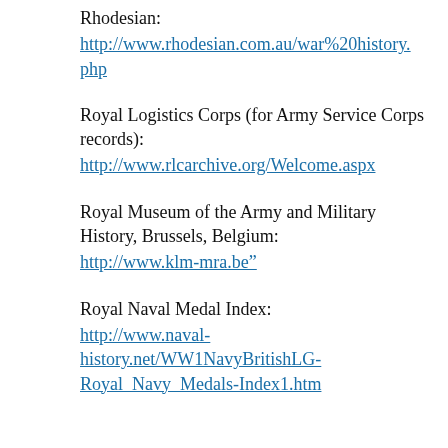Rhodesian:
http://www.rhodesian.com.au/war%20history.php
Royal Logistics Corps (for Army Service Corps records):
http://www.rlcarchive.org/Welcome.aspx
Royal Museum of the Army and Military History, Brussels, Belgium:
http://www.klm-mra.be”
Royal Naval Medal Index:
http://www.naval-history.net/WW1NavyBritishLG-Royal_Navy_Medals-Index1.htm